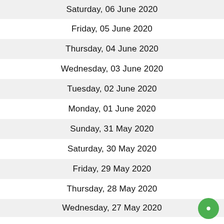Saturday, 06 June 2020
Friday, 05 June 2020
Thursday, 04 June 2020
Wednesday, 03 June 2020
Tuesday, 02 June 2020
Monday, 01 June 2020
Sunday, 31 May 2020
Saturday, 30 May 2020
Friday, 29 May 2020
Thursday, 28 May 2020
Wednesday, 27 May 2020